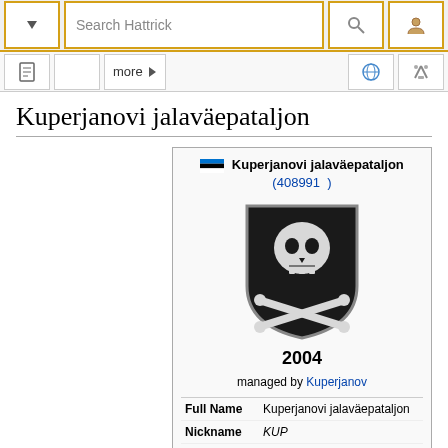Search Hattrick
Kuperjanovi jalaväepataljon
[Figure (infographic): Infobox showing Kuperjanovi jalaväepataljon team info with Estonian flag, skull and crossbones shield logo, founding year 2004, manager Kuperjanov, full name, nickname KUP, founded 2004-04-12, location Võrumaa, Eesti]